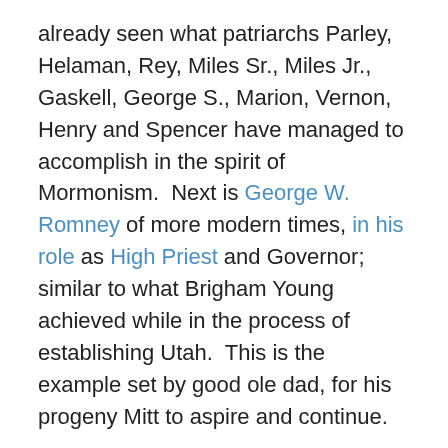already seen what patriarchs Parley, Helaman, Rey, Miles Sr., Miles Jr., Gaskell, George S., Marion, Vernon, Henry and Spencer have managed to accomplish in the spirit of Mormonism.  Next is George W. Romney of more modern times, in his role as High Priest and Governor; similar to what Brigham Young achieved while in the process of establishing Utah.  This is the example set by good ole dad, for his progeny Mitt to aspire and continue.
In tying the past to the present it would be an injustice to overlook the “W” in George Romney’s name.  It hails from Charles Heinrich Wilcken, who shared the head of family on the maternal side along with Grandpa Parley (see family tree).  At first the German connection appeared to be an anomaly, but research revealed why he would